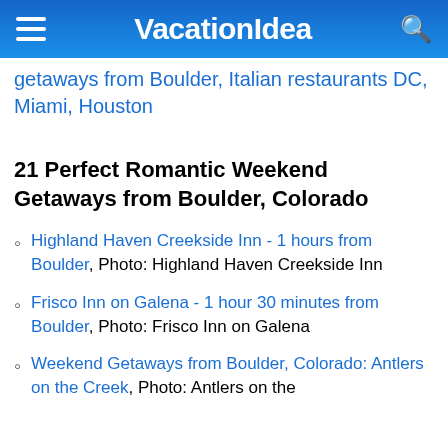VacationIdea
getaways from Boulder, Italian restaurants DC, Miami, Houston
21 Perfect Romantic Weekend Getaways from Boulder, Colorado
Highland Haven Creekside Inn - 1 hours from Boulder, Photo: Highland Haven Creekside Inn
Frisco Inn on Galena - 1 hour 30 minutes from Boulder, Photo: Frisco Inn on Galena
Weekend Getaways from Boulder, Colorado: Antlers on the Creek, Photo: Antlers on the